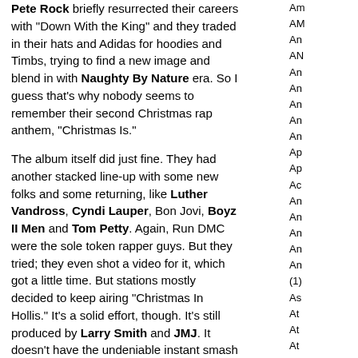Pete Rock briefly resurrected their careers with "Down With the King" and they traded in their hats and Adidas for hoodies and Timbs, trying to find a new image and blend in with Naughty By Nature era. So I guess that's why nobody seems to remember their second Christmas rap anthem, "Christmas Is."
The album itself did just fine. They had another stacked line-up with some new folks and some returning, like Luther Vandross, Cyndi Lauper, Bon Jovi, Boyz II Men and Tom Petty. Again, Run DMC were the sole token rapper guys. But they tried; they even shot a video for it, which got a little time. But stations mostly decided to keep airing "Christmas In Hollis." It's a solid effort, though. It's still produced by Larry Smith and JMJ. It doesn't have the undeniable instant smash hit power of that Carter sample, but it has a respectable, more timely 90's sound with sparse jazz samples and big, but more natural drums. Their flows are a little more nimble. They still open with a little Christmas carol jingle and rock the sleigh bells, but it definitely has less of a holiday feel to it, which is part of the problem. By the time it gets to their "give up the dough!" shout chorus, they've definitely forgone any crossover appeal the first one had.
Listening to it now, it actually sounds more dated than "Hollis," but I still like it. In fact, it's a plus in my book that it's less kitschy and angrier about socioeconomic inequality. If only Run DMC had
Am
AM
An
AN
An
An
An
An
An
Ap
Ap
Ac
An
An
An
An
An
(1)
As
At
At
At
Au
Au
Aw